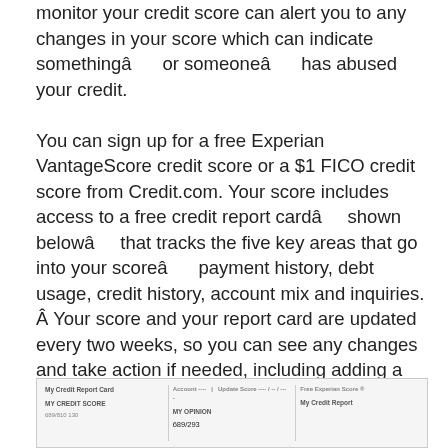monitor your credit score can alert you to any changes in your score which can indicate somethingâ or someoneâ has abused your credit.

You can sign up for a free Experian VantageScore credit score or a $1 FICO credit score from Credit.com. Your score includes access to a free credit report cardâ shown belowâ that tracks the five key areas that go into your scoreâ payment history, debt usage, credit history, account mix and inquiries. Â Your score and your report card are updated every two weeks, so you can see any changes and take action if needed, including adding a fraud alert, freeze or lock when needed.
[Figure (screenshot): Screenshot of a credit report card interface showing 'My Credit Report Card', 'MY CREDIT SCORE', 'MY OPINION', and 'My Credit Report' sections with partial data visible.]